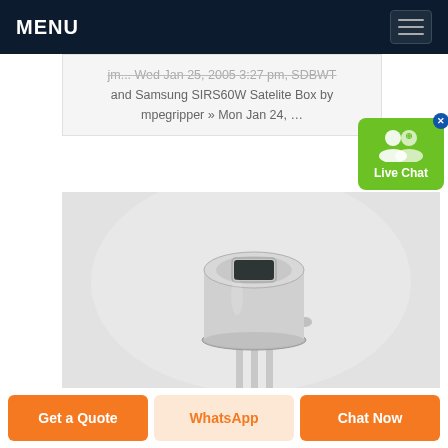MENU
jm... Wed Jan 25, 2005 3:27 pm, SDBWT... and Samsung SIRS60W Satelite Box by mpegripper » Mon Jan 24, …
[Figure (photo): Close-up photo of an electronic sensor component (TO-5 style metal can package) with a rectangular dark sensing window on top, mounted on metal pins, against a light grey background.]
Get a Quote
WhatsApp
Chat Now